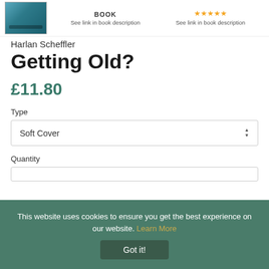[Figure (screenshot): Book cover thumbnail showing a swimming/water scene with teal/blue tones]
See link in book description
See link in book description
Harlan Scheffler
Getting Old?
£11.80
Type
Soft Cover
Quantity
This website uses cookies to ensure you get the best experience on our website. Learn More Got it!